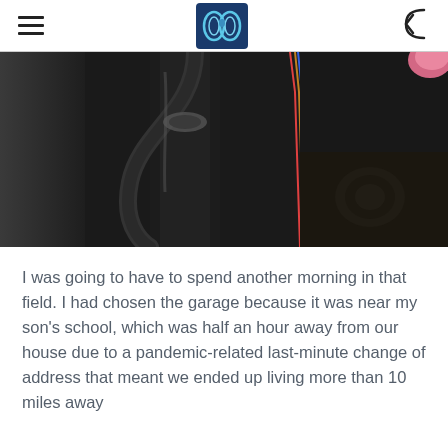[Figure (photo): Close-up photo of dark mechanical components, including hoses and wiring, possibly from a vehicle engine bay. A pink fingernail is partially visible at the top right.]
I was going to have to spend another morning in that field. I had chosen the garage because it was near my son's school, which was half an hour away from our house due to a pandemic-related last-minute change of address that meant we ended up living more than 10 miles away